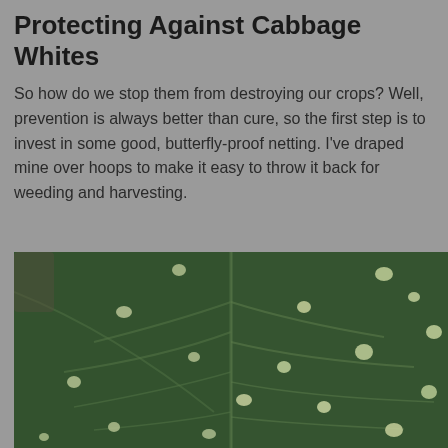Protecting Against Cabbage Whites
So how do we stop them from destroying our crops? Well, prevention is always better than cure, so the first step is to invest in some good, butterfly-proof netting. I've draped mine over hoops to make it easy to throw it back for weeding and harvesting.
[Figure (photo): Close-up photograph of a large dark green leaf (cabbage or similar brassica) showing white spots and damage marks scattered across the surface, with visible leaf veins.]